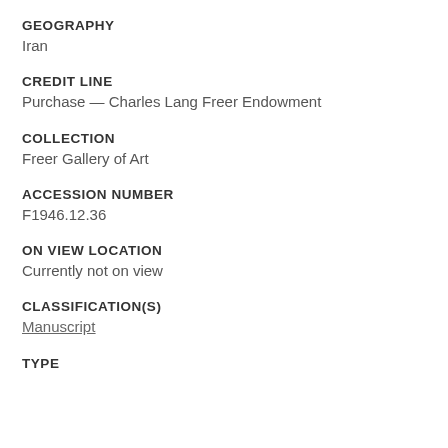GEOGRAPHY
Iran
CREDIT LINE
Purchase — Charles Lang Freer Endowment
COLLECTION
Freer Gallery of Art
ACCESSION NUMBER
F1946.12.36
ON VIEW LOCATION
Currently not on view
CLASSIFICATION(S)
Manuscript
TYPE